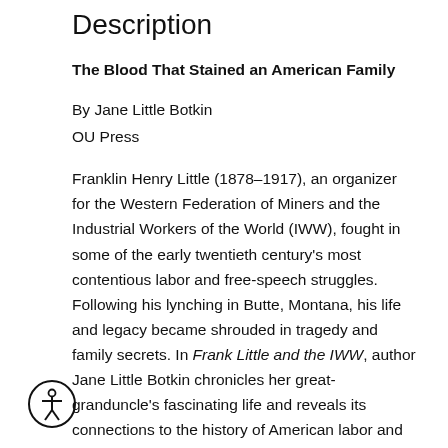Description
The Blood That Stained an American Family
By Jane Little Botkin
OU Press
Franklin Henry Little (1878–1917), an organizer for the Western Federation of Miners and the Industrial Workers of the World (IWW), fought in some of the early twentieth century's most contentious labor and free-speech struggles. Following his lynching in Butte, Montana, his life and legacy became shrouded in tragedy and family secrets. In Frank Little and the IWW, author Jane Little Botkin chronicles her great-granduncle's fascinating life and reveals its connections to the history of American labor and the first Red Scare.